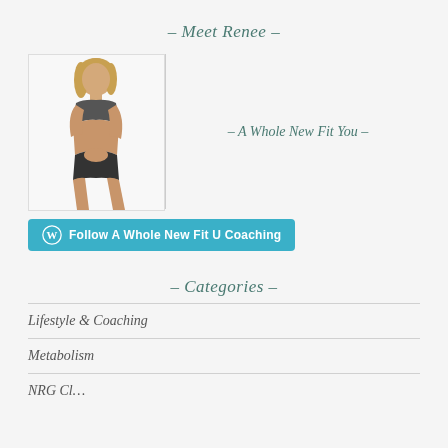– Meet Renee –
[Figure (photo): Photo of a fit woman in athletic wear (sports bra and shorts), posing with hands together at waist level, blonde hair, white background]
– A Whole New Fit You –
Follow A Whole New Fit U Coaching
– Categories –
Lifestyle & Coaching
Metabolism
NRG Cl…